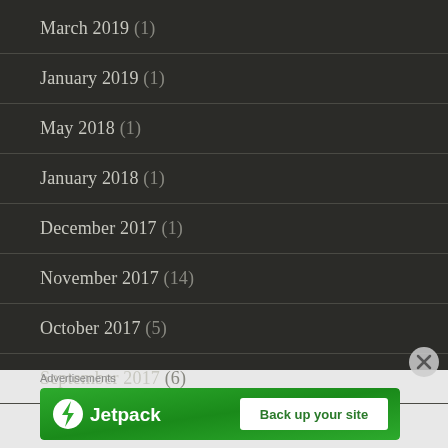March 2019 (1)
January 2019 (1)
May 2018 (1)
January 2018 (1)
December 2017 (1)
November 2017 (14)
October 2017 (5)
September 2017 (6)
August 2017 (4)
[Figure (screenshot): Jetpack advertisement banner with logo and 'Back up your site' button on green background]
Advertisements